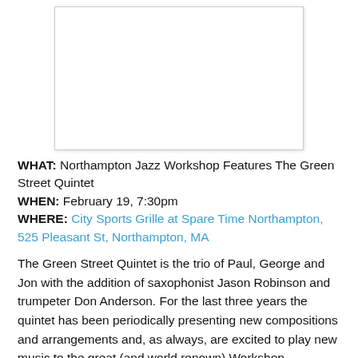[Figure (photo): Blank white image placeholder with light border]
WHAT: Northampton Jazz Workshop Features The Green Street Quintet
WHEN: February 19, 7:30pm
WHERE: City Sports Grille at Spare Time Northampton, 525 Pleasant St, Northampton, MA
The Green Street Quintet is the trio of Paul, George and Jon with the addition of saxophonist Jason Robinson and trumpeter Don Anderson. For the last three years the quintet has been periodically presenting new compositions and arrangements and, as always, are excited to play new music to the great (and world renown) Workshop audience.
The concert set starts at 7:30, followed immediately by the